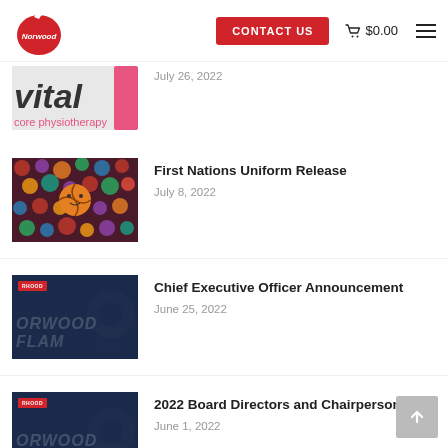Norwood — CONTACT US | $0.00
[Figure (photo): Partial Vital Core Physiotherapy logo thumbnail cropped at top]
July 26, 2022
[Figure (photo): First Nations artwork thumbnail with basketball mascot on colorful indigenous dot-art background]
First Nations Uniform Release
July 8, 2022
[Figure (photo): Norwood Flames dark blue branded card with red RHOO badge and large italic white text ORWOOD FLAM]
Chief Executive Officer Announcement
June 25, 2022
[Figure (photo): Norwood Flames dark blue branded card with red RHOO badge and large italic white text ORWOOD FLAM]
2022 Board Directors and Chairperson
June 1, 2022